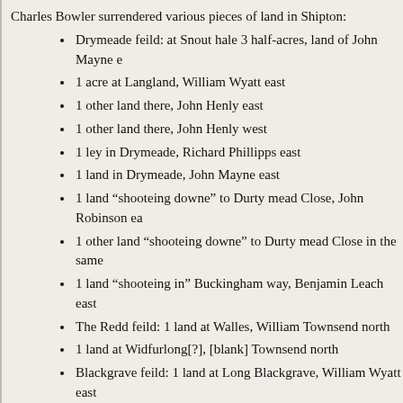Charles Bowler surrendered various pieces of land in Shipton:
Drymeade feild: at Snout hale 3 half-acres, land of John Mayne e
1 acre at Langland, William Wyatt east
1 other land there, John Henly east
1 other land there, John Henly west
1 ley in Drymeade, Richard Phillipps east
1 land in Drymeade, John Mayne east
1 land "shooteing downe" to Durty mead Close, John Robinson ea
1 other land "shooteing downe" to Durty mead Close in the same
1 land "shooteing in" Buckingham way, Benjamin Leach east
The Redd feild: 1 land at Walles, William Townsend north
1 land at Widfurlong[?], [blank] Townsend north
Blackgrave feild: 1 land at Long Blackgrave, William Wyatt east
another land there, Dorothy Miller east
1 acre at Gravell pitts, Henry Townsend west
To the use of John Duncombe of East Claydon esq., provided that it will be void if £41 on 27 April 1685. Rent 2s 3d, fine 18s.
[f.2r] Robert Scott and Ann his wife surrendered a close of pasture in Winslow call the hedge on the south side and the public road on the east. To the use of William